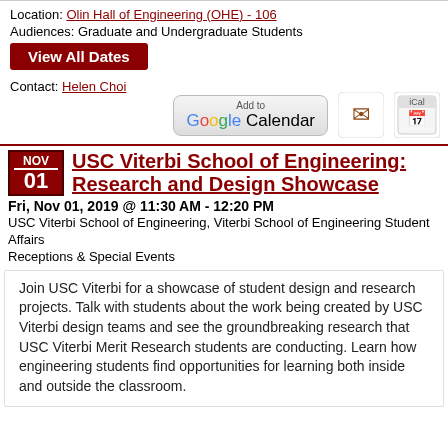Location: Olin Hall of Engineering (OHE) - 106
Audiences: Graduate and Undergraduate Students
View All Dates
Contact: Helen Choi
[Figure (other): Add to Google Calendar, Yahoo Calendar, and iCal buttons]
USC Viterbi School of Engineering: Research and Design Showcase
Fri, Nov 01, 2019 @ 11:30 AM - 12:20 PM
USC Viterbi School of Engineering, Viterbi School of Engineering Student Affairs
Receptions & Special Events
Join USC Viterbi for a showcase of student design and research projects. Talk with students about the work being created by USC Viterbi design teams and see the groundbreaking research that USC Viterbi Merit Research students are conducting. Learn how engineering students find opportunities for learning both inside and outside the classroom.